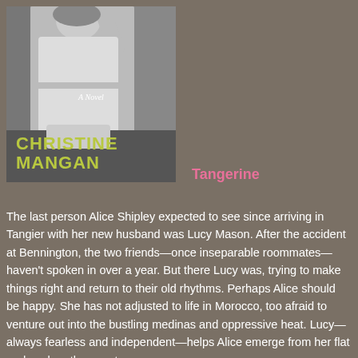[Figure (illustration): Book cover of 'Tangerine' by Christine Mangan — black and white photo of a woman in a white dress with text 'A Novel' in italic and 'CHRISTINE MANGAN' in large yellow-green letters]
Tangerine
The last person Alice Shipley expected to see since arriving in Tangier with her new husband was Lucy Mason. After the accident at Bennington, the two friends—once inseparable roommates—haven't spoken in over a year. But there Lucy was, trying to make things right and return to their old rhythms. Perhaps Alice should be happy. She has not adjusted to life in Morocco, too afraid to venture out into the bustling medinas and oppressive heat. Lucy—always fearless and independent—helps Alice emerge from her flat and explore the country.